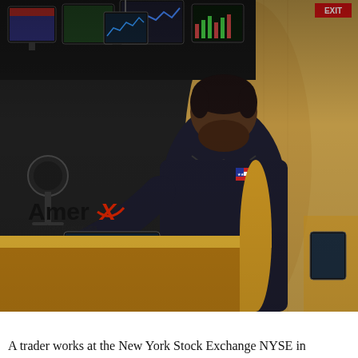[Figure (photo): A trader working at the New York Stock Exchange (NYSE), seated at a trading desk branded with 'Amerx American Executions' logo in yellow/tan color. Multiple computer monitors are visible in the background showing financial charts and data. The ornate architectural details of the NYSE building are visible in the upper right with an arch and EXIT sign. The trader is wearing a dark jacket with an American flag patch.]
A trader works at the New York Stock Exchange NYSE in